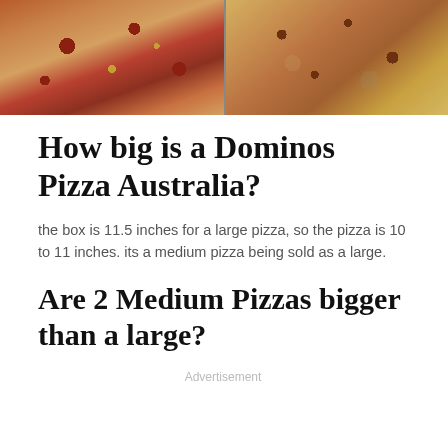[Figure (photo): Two pizzas side by side on brown cardboard/stone surfaces — a heart-shaped pepperoni pizza on the left and a round meat-topped pizza on the right.]
How big is a Dominos Pizza Australia?
the box is 11.5 inches for a large pizza, so the pizza is 10 to 11 inches. its a medium pizza being sold as a large.
Are 2 Medium Pizzas bigger than a large?
Advertisement